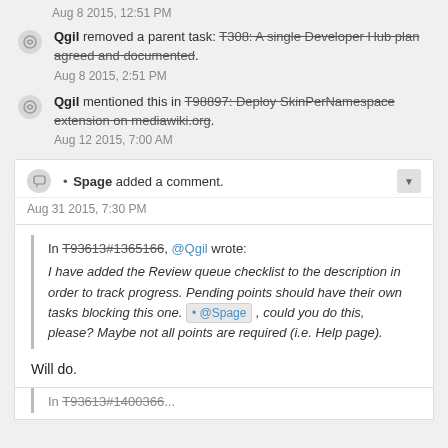Aug 8 2015, 12:51 PM
Qgil removed a parent task: T308: A single Developer Hub plan agreed and documented.
Aug 8 2015, 2:51 PM
Qgil mentioned this in T98897: Deploy SkinPerNamespace extension on mediawiki.org.
Aug 12 2015, 7:00 AM
• Spage added a comment.
Aug 31 2015, 7:30 PM
In T93613#1365166, @Qgil wrote:
I have added the Review queue checklist to the description in order to track progress. Pending points should have their own tasks blocking this one. @Spage , could you do this, please? Maybe not all points are required (i.e. Help page).
Will do.
In T93613#1400366...